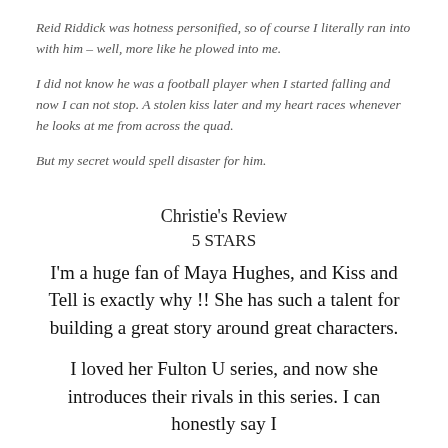Reid Riddick was hotness personified, so of course I literally ran into with him – well, more like he plowed into me.
I did not know he was a football player when I started falling and now I can not stop. A stolen kiss later and my heart races whenever he looks at me from across the quad.
But my secret would spell disaster for him.
Christie's Review
5 STARS
I'm a huge fan of Maya Hughes, and Kiss and Tell is exactly why !! She has such a talent for building a great story around great characters.
I loved her Fulton U series, and now she introduces their rivals in this series. I can honestly say I